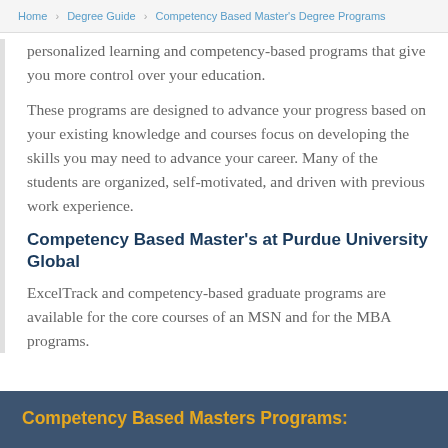Home > Degree Guide > Competency Based Master's Degree Programs
personalized learning and competency-based programs that give you more control over your education.
These programs are designed to advance your progress based on your existing knowledge and courses focus on developing the skills you may need to advance your career. Many of the students are organized, self-motivated, and driven with previous work experience.
Competency Based Master's at Purdue University Global
ExcelTrack and competency-based graduate programs are available for the core courses of an MSN and for the MBA programs.
Competency Based Masters Programs: